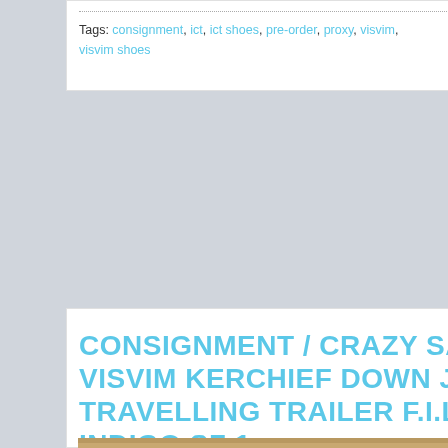Tags: consignment, ict, ict shoes, pre-order, proxy, visvim, visvim shoes   Category: PRE...
CONSIGNMENT / CRAZY SALE P... VISVIM KERCHIEF DOWN JKT K... TRAVELLING TRAILER F.I.L. KY... INDIGO SZ 1
Posted by samplekickz on 24 Mar 2017
[Figure (photo): Photo of a dark navy blue Visvim Kerchief Down Jacket laid flat on a wooden surface, with a DR·SK brand watermark overlay]